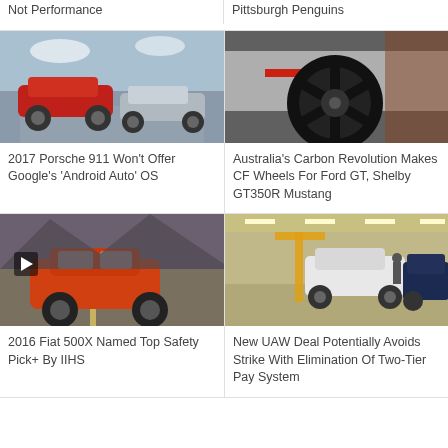Not Performance
Pittsburgh Penguins
[Figure (photo): Two Porsche 911 sports cars on a desert road — one red coupe and one silver convertible]
[Figure (photo): Close-up front view of a white Ford Mustang with black carbon fiber wheels in a garage]
2017 Porsche 911 Won't Offer Google's 'Android Auto' OS
Australia's Carbon Revolution Makes CF Wheels For Ford GT, Shelby GT350R Mustang
[Figure (photo): Red Fiat 500X driving on a mountain road, with a video play button overlay]
[Figure (photo): Automotive factory assembly line with white SUVs being assembled by workers with yellow equipment]
2016 Fiat 500X Named Top Safety Pick+ By IIHS
New UAW Deal Potentially Avoids Strike With Elimination Of Two-Tier Pay System